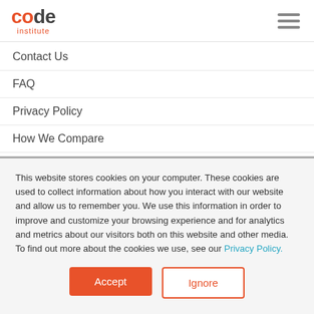code institute
Contact Us
FAQ
Privacy Policy
How We Compare
For Employers
This website stores cookies on your computer. These cookies are used to collect information about how you interact with our website and allow us to remember you. We use this information in order to improve and customize your browsing experience and for analytics and metrics about our visitors both on this website and other media. To find out more about the cookies we use, see our Privacy Policy.
Accept
Ignore